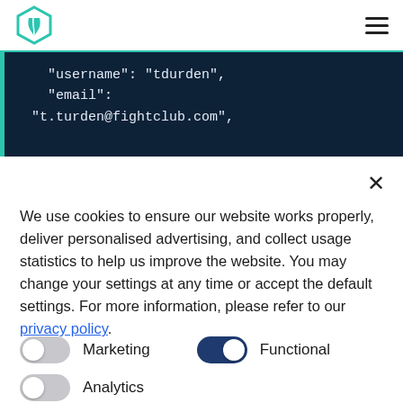Logo and navigation header
[Figure (screenshot): Code snippet showing JSON fields: username: tdurden, email: t.turden@fightclub.com on dark navy background]
We use cookies to ensure our website works properly, deliver personalised advertising, and collect usage statistics to help us improve the website. You may change your settings at any time or accept the default settings. For more information, please refer to our privacy policy.
Marketing toggle (off), Functional toggle (on), Analytics toggle (off)